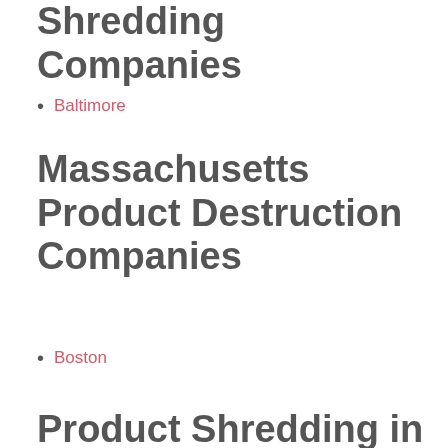Shredding Companies
Baltimore
Massachusetts Product Destruction Companies
Boston
Product Shredding in